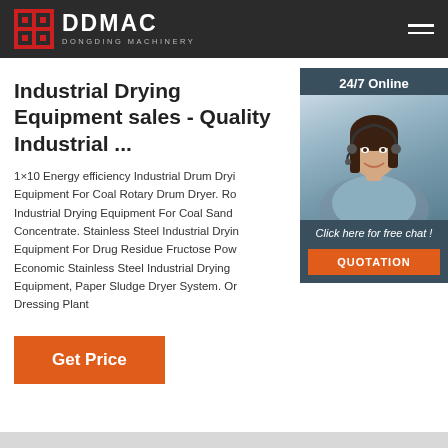DDMAC DONGDING MACHINERY
Industrial Drying Equipment sales - Quality Industrial ...
1×10 Energy efficiency Industrial Drum Drying Equipment For Coal Rotary Drum Dryer. Rotary Industrial Drying Equipment For Coal Sand Concentrate. Stainless Steel Industrial Drying Equipment For Drug Residue Fructose Powder. Economic Stainless Steel Industrial Drying Equipment, Paper Sludge Dryer System. Ore Dressing Plant
[Figure (photo): Customer service agent woman with headset smiling, with 24/7 Online badge and Click here for free chat overlay and QUOTATION button]
Get Price